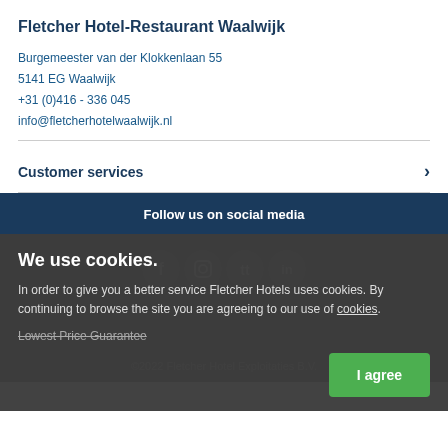Fletcher Hotel-Restaurant Waalwijk
Burgemeester van der Klokkenlaan 55
5141 EG Waalwijk
+31 (0)416 - 336 045
info@fletcherhotelwaalwijk.nl
Customer services
Follow us on social media
We use cookies.
In order to give you a better service Fletcher Hotels uses cookies. By continuing to browse the site you are agreeing to our use of cookies.
Lowest Price Guarantee
©2022 Fletcher Hotel Exploitaties B.V.